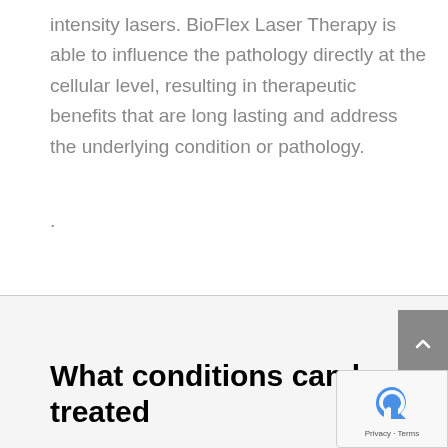intensity lasers. BioFlex Laser Therapy is able to influence the pathology directly at the cellular level, resulting in therapeutic benefits that are long lasting and address the underlying condition or pathology.
.
What conditions can be treated